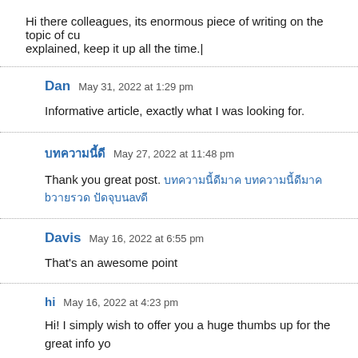Hi there colleagues, its enormous piece of writing on the topic of cu explained, keep it up all the time.|
Dan  May 31, 2022 at 1:29 pm
Informative article, exactly what I was looking for.
บทความนี้ดี  May 27, 2022 at 11:48 pm
Thank you great post. บทความนี้ดีมาก บทความนี้ดีมาก bวายรวด ปัดจุบนavดี
Davis  May 16, 2022 at 6:55 pm
That's an awesome point
hi  May 16, 2022 at 4:23 pm
Hi! I simply wish to offer you a huge thumbs up for the great info yo